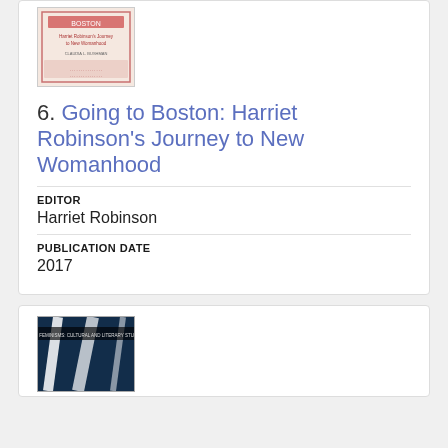[Figure (illustration): Book cover for 'Going to Boston: Harriet Robinson's Journey to New Womanhood' by Claudia L. Bushman, with pink/red decorative pattern]
6. Going to Boston: Harriet Robinson's Journey to New Womanhood
EDITOR
Harriet Robinson
PUBLICATION DATE
2017
[Figure (illustration): Book cover with dark blue abstract design, text reading 'NEW FEMINISMS: CULTURAL AND LITERARY STUDIES']